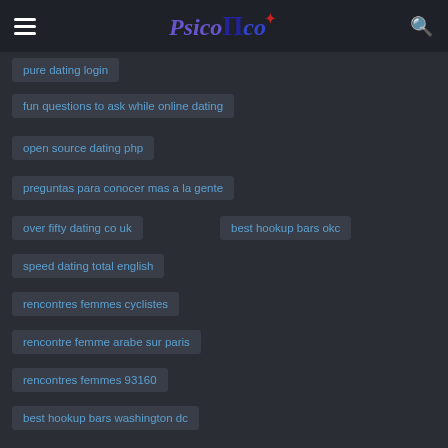PsicoПco [hamburger menu + search icon]
pure dating login
fun questions to ask while online dating
open source dating php
preguntas para conocer mas a la gente
over fifty dating co uk
best hookup bars okc
speed dating total english
rencontres femmes cyclistes
rencontre femme arabe sur paris
rencontres femmes 93160
best hookup bars washington dc
past form of kennenlernen
separation and dating in nc
ou rencontrer filles
turkische familie kennenlernen